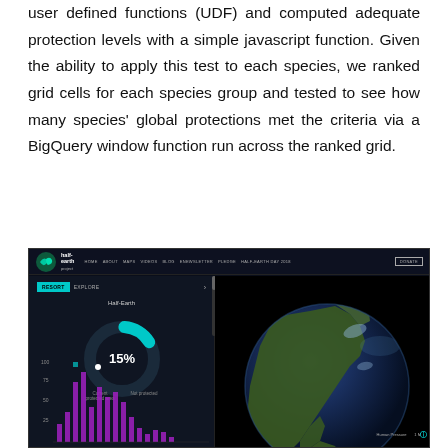user defined functions (UDF) and computed adequate protection levels with a simple javascript function. Given the ability to apply this test to each species, we ranked grid cells for each species group and tested to see how many species' global protections met the criteria via a BigQuery window function run across the ranked grid.
[Figure (screenshot): Screenshot of the Half-Earth Project website showing a dark-themed interface with navigation bar (Home, About, Maps, Videos, Blog, eNewsletter, Pledge, Half-Earth Day 2018, Donate), a left panel with a donut chart showing 15% current protected area with 'Not protected' label, a bar chart below with purple bars showing values at 100, 75, 50, 25 on y-axis, and a right panel showing a 3D globe of the Americas against black background with a 'GLOBAL' label.]